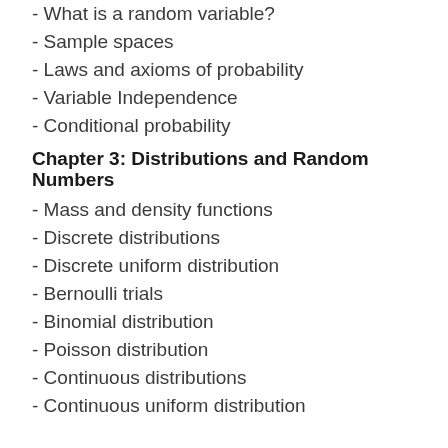- What is a random variable?
- Sample spaces
- Laws and axioms of probability
- Variable Independence
- Conditional probability
Chapter 3: Distributions and Random Numbers
- Mass and density functions
- Discrete distributions
- Discrete uniform distribution
- Bernoulli trials
- Binomial distribution
- Poisson distribution
- Continuous distributions
- Continuous uniform distribution